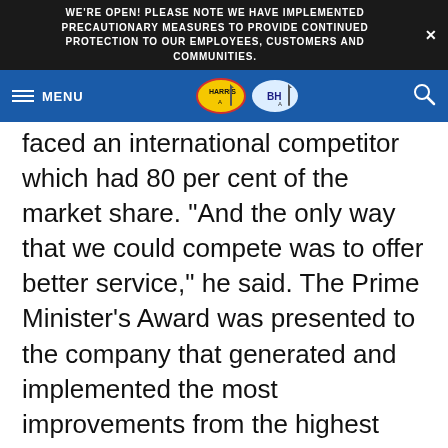WE'RE OPEN! PLEASE NOTE WE HAVE IMPLEMENTED PRECAUTIONARY MEASURES TO PROVIDE CONTINUED PROTECTION TO OUR EMPLOYEES, CUSTOMERS AND COMMUNITIES.
[Figure (logo): Harris and BH company logos in navigation bar with MENU label and search icon]
faced an international competitor which had 80 per cent of the market share. "And the only way that we could compete was to offer better service," he said. The Prime Minister's Award was presented to the company that generated and implemented the most improvements from the highest percentage of employees and where these improvements have been proven to have the highest measurable impact on its performance in the key improvement areas. (JH)
http://www.barbadosadvocate.com/newsitem.asp
more=local&NewsID=25377